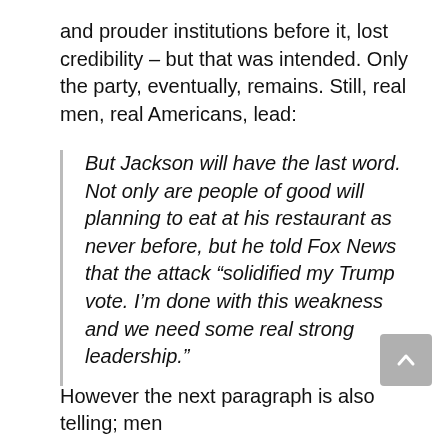and prouder institutions before it, lost credibility – but that was intended. Only the party, eventually, remains. Still, real men, real Americans, lead:
But Jackson will have the last word. Not only are people of good will planning to eat at his restaurant as never before, but he told Fox News that the attack “solidified my Trump vote. I’m done with this weakness and we need some real strong leadership.”
However the next paragraph is also telling; men